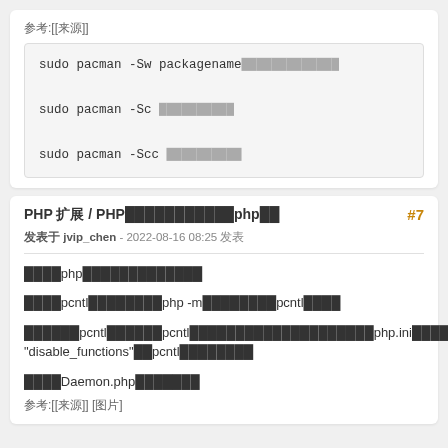参考:[[来源]]
sudo pacman -Sw packagename下载软件包而不安装它

sudo pacman -Sc 清除缓存中未安装的软件包

sudo pacman -Scc 清除所有缓存
PHP 扩展 / PHP安装启用扩展php扩展
#7
发表于 jvip_chen - 2022-08-16 08:25 发表
首先确认php是否已经安装好了
确认有pcntl扩展，使用php -m命令查看，有无pcntl扩展
如果有pcntl扩展，pcntl扩展默认不开启，可能在配置文件php.ini中搜索"php.ini"确认一下"disable_functions"里pcntl开头的函数
然后运行Daemon.php测试一下
参考:[[来源]] [图片]